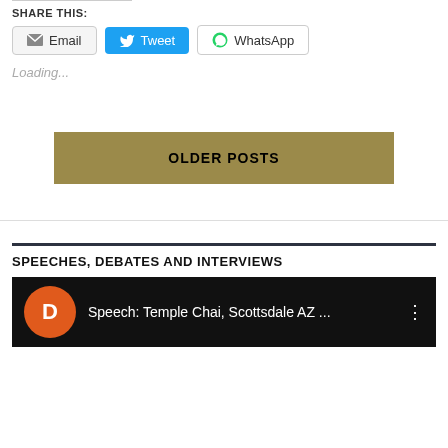SHARE THIS:
Email | Tweet | WhatsApp
Loading...
OLDER POSTS
SPEECHES, DEBATES AND INTERVIEWS
[Figure (screenshot): Video thumbnail with orange D icon and title: Speech: Temple Chai, Scottsdale AZ ...]